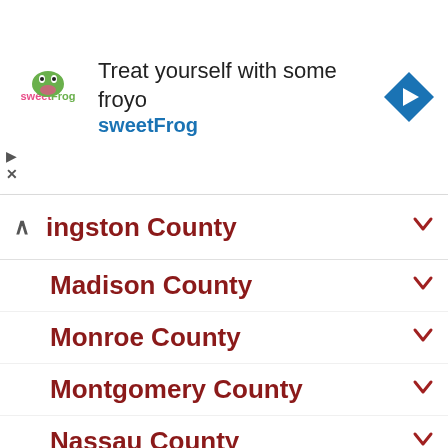[Figure (screenshot): sweetFrog advertisement banner with logo, text 'Treat yourself with some froyo sweetFrog', a blue navigation arrow icon, and play/close controls]
Livingston County
Madison County
Monroe County
Montgomery County
Nassau County
New York County
Niagara County
Oneida County
Onondaga County
Ontario County